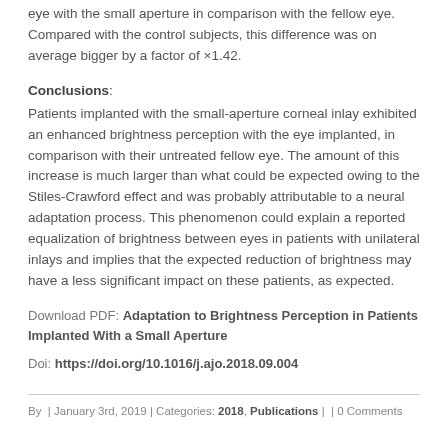eye with the small aperture in comparison with the fellow eye. Compared with the control subjects, this difference was on average bigger by a factor of ×1.42.
Conclusions:
Patients implanted with the small-aperture corneal inlay exhibited an enhanced brightness perception with the eye implanted, in comparison with their untreated fellow eye. The amount of this increase is much larger than what could be expected owing to the Stiles-Crawford effect and was probably attributable to a neural adaptation process. This phenomenon could explain a reported equalization of brightness between eyes in patients with unilateral inlays and implies that the expected reduction of brightness may have a less significant impact on these patients, as expected.
Download PDF: Adaptation to Brightness Perception in Patients Implanted With a Small Aperture
Doi: https://doi.org/10.1016/j.ajo.2018.09.004
By  | January 3rd, 2019 | Categories: 2018, Publications |  | 0 Comments